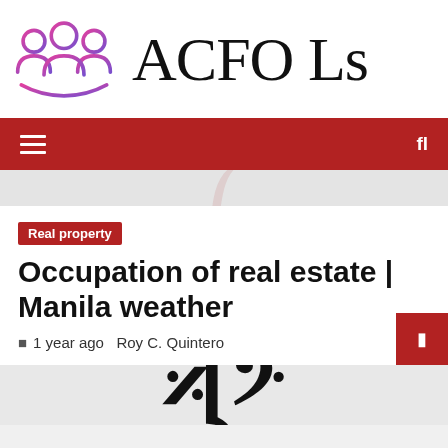ACFO Ls
≡  fl
Real property
Occupation of real estate | Manila weather
1 year ago  Roy C. Quintero